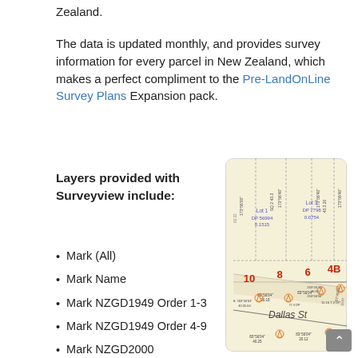Zealand.
The data is updated monthly, and provides survey information for every parcel in New Zealand, which makes a perfect compliment to the Pre-LandOnLine Survey Plans Expansion pack.
Layers provided with Surveyview include:
[Figure (map): Survey map showing parcels with lot numbers (Lot 1 DP 56994, Lot 3 DP 7798), bearing/distance annotations, survey marks, and Dallas St label. Numbers 10, 8, 6, 4B shown in red.]
Mark (All)
Mark Name
Mark NZGD1949 Order 1-3
Mark NZGD1949 Order 4-9
Mark NZGD2000